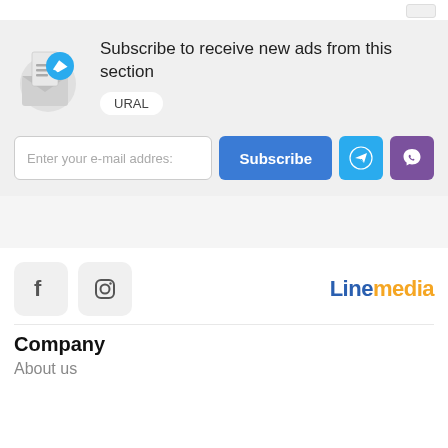Subscribe to receive new ads from this section
URAL
Enter your e-mail address
Subscribe
Linemedia
Company
About us